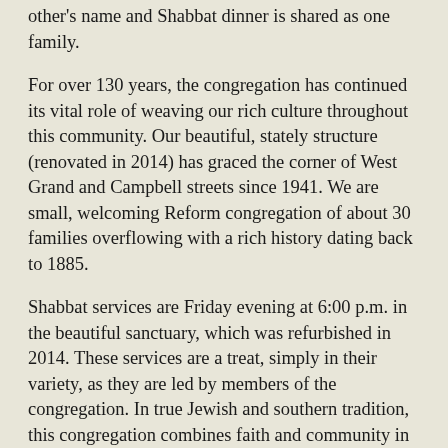other's name and Shabbat dinner is shared as one family.
For over 130 years, the congregation has continued its vital role of weaving our rich culture throughout this community. Our beautiful, stately structure (renovated in 2014) has graced the corner of West Grand and Campbell streets since 1941. We are small, welcoming Reform congregation of about 30 families overflowing with a rich history dating back to 1885.
Shabbat services are Friday evening at 6:00 p.m. in the beautiful sanctuary, which was refurbished in 2014. These services are a treat, simply in their variety, as they are led by members of the congregation. In true Jewish and southern tradition, this congregation combines faith and community in every aspect. Following Shabbat services, the congregation joins together for a friendly informal dinner at a local restaurant.
Rabbi-Cantor John M. Kaplan (Cantor Emeritus – Temple Israel, Memphis) comes to Jackson from September-June, to conduct services once a month beginning at 7:00 p.m. Friday evening. His responsibilities include preparing B'nai